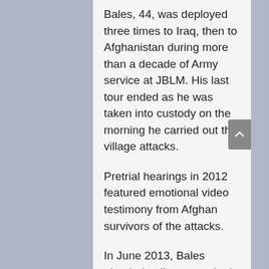Bales, 44, was deployed three times to Iraq, then to Afghanistan during more than a decade of Army service at JBLM. His last tour ended as he was taken into custody on the morning he carried out the village attacks.
Pretrial hearings in 2012 featured emotional video testimony from Afghan survivors of the attacks.
In June 2013, Bales pleaded guilty to murder in exchange for the withdrawal of the death penalty.